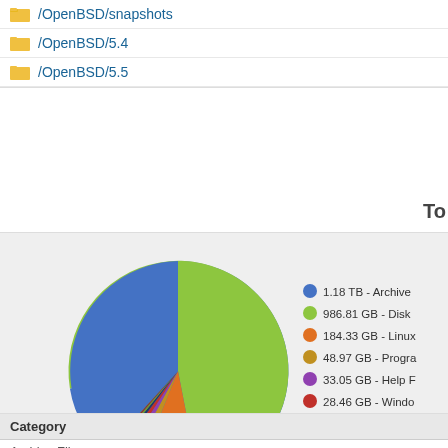/OpenBSD/snapshots
/OpenBSD/5.4
/OpenBSD/5.5
To
[Figure (pie-chart): Disk Usage by Category]
| Category |
| --- |
| Archive Files |